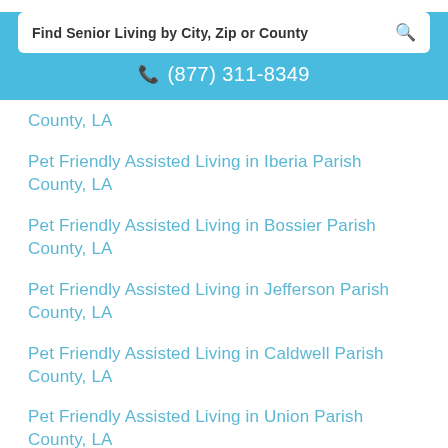[Figure (screenshot): Search bar with text 'Find Senior Living by City, Zip or County' and a magnifying glass icon]
(877) 311-8349
County, LA
Pet Friendly Assisted Living in Iberia Parish County, LA
Pet Friendly Assisted Living in Bossier Parish County, LA
Pet Friendly Assisted Living in Jefferson Parish County, LA
Pet Friendly Assisted Living in Caldwell Parish County, LA
Pet Friendly Assisted Living in Union Parish County, LA
Pet Friendly Assisted Living in Rapides Parish County, LA